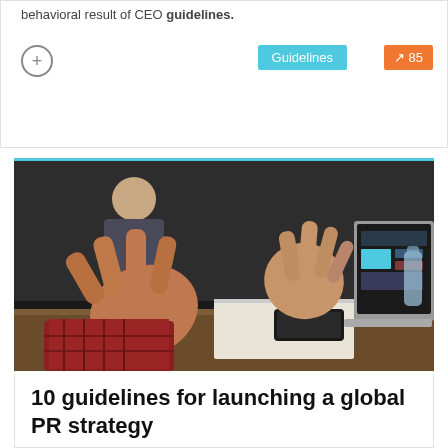behavioral result of CEO guidelines.
[Figure (photo): Person gesturing with hands at a meeting table with a laptop open showing a dashboard, and a smartphone and notebook on the table. Another person is blurred in the background.]
10 guidelines for launching a global PR strategy